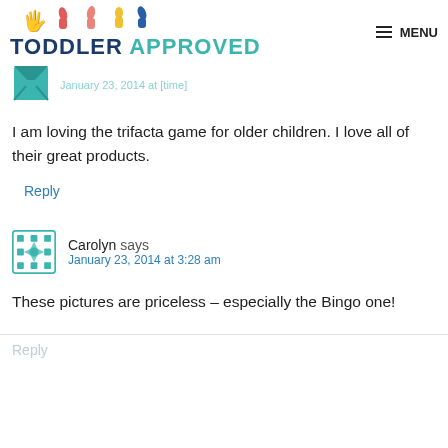TODDLER APPROVED — MENU
January 23, 2014 at [time]
I am loving the trifacta game for older children. I love all of their great products.
Reply
Carolyn says
January 23, 2014 at 3:28 am
These pictures are priceless – especially the Bingo one!
Reply